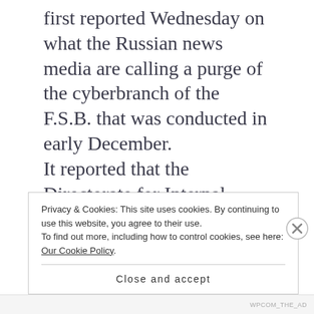first reported Wednesday on what the Russian news media are calling a purge of the cyberbranch of the F.S.B. that was conducted in early December. It reported that the Directorate for Internal Security, the agency's internal affairs bureau, arrested Sergei Mikhailov, a deputy director of the Center for Information Security, the agency's cybersecurity arm, and
Privacy & Cookies: This site uses cookies. By continuing to use this website, you agree to their use.
To find out more, including how to control cookies, see here: Our Cookie Policy.
Close and accept
WPCOM_THE_AD